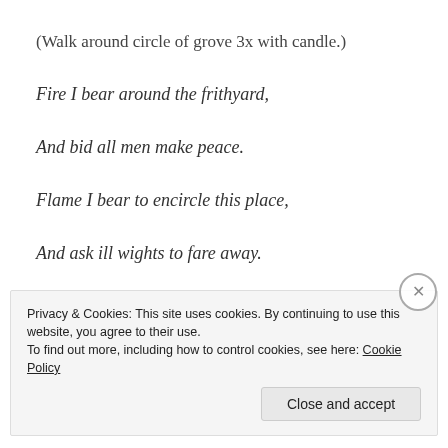(Walk around circle of grove 3x with candle.)
Fire I bear around the frithyard,
And bid all men make peace.
Flame I bear to encircle this place,
And ask ill wights to fare away.
Privacy & Cookies: This site uses cookies. By continuing to use this website, you agree to their use. To find out more, including how to control cookies, see here: Cookie Policy
Close and accept